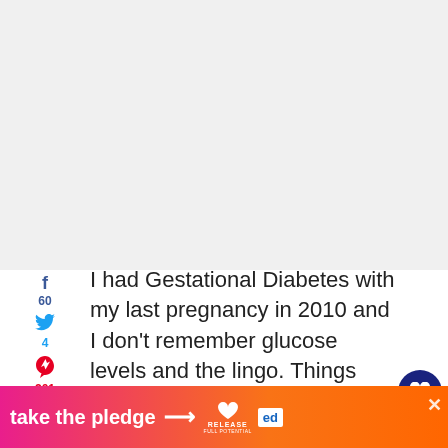[Figure (other): Gray/white image placeholder area at top of page]
f
60
🐦
4
♟
201
Yum
265
SHARES
I had Gestational Diabetes with my last pregnancy in 2010 and I don't remember glucose levels and the lingo. Things started happening fast here. Luckily while this was all going on, the office was quiet and my two younger ones were quiet and engaged with the iPad (usually a little screen would have occupied...
[Figure (infographic): Bottom orange-pink gradient banner with 'take the pledge' text and arrow, Release logo, and Ed logo]